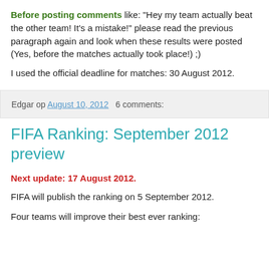Before posting comments like: "Hey my team actually beat the other team! It's a mistake!" please read the previous paragraph again and look when these results were posted (Yes, before the matches actually took place!) ;)
I used the official deadline for matches: 30 August 2012.
Edgar op August 10, 2012   6 comments:
FIFA Ranking: September 2012 preview
Next update: 17 August 2012.
FIFA will publish the ranking on 5 September 2012.
Four teams will improve their best ever ranking: